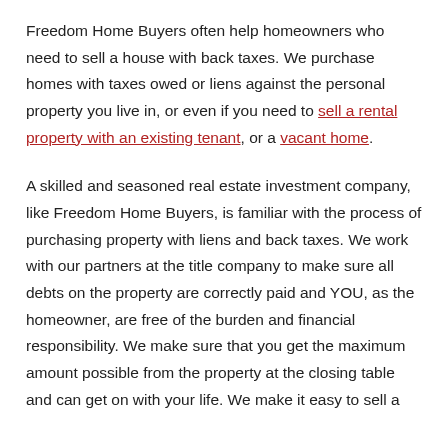Freedom Home Buyers often help homeowners who need to sell a house with back taxes. We purchase homes with taxes owed or liens against the personal property you live in, or even if you need to sell a rental property with an existing tenant, or a vacant home.
A skilled and seasoned real estate investment company, like Freedom Home Buyers, is familiar with the process of purchasing property with liens and back taxes. We work with our partners at the title company to make sure all debts on the property are correctly paid and YOU, as the homeowner, are free of the burden and financial responsibility. We make sure that you get the maximum amount possible from the property at the closing table and can get on with your life. We make it easy to sell a